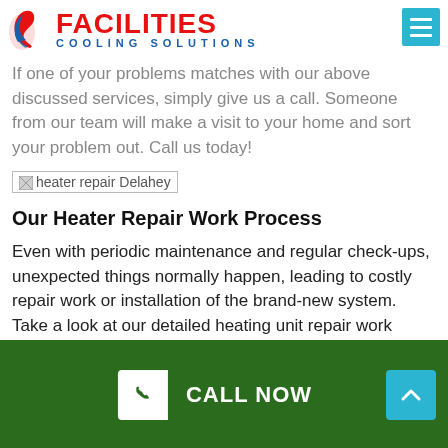[Figure (logo): Facilities Cooling Solutions logo with red swirl icon, red FACILITIES text, and blue COOLING SOLUTIONS subtext]
If one of your problems matches with our above discussed services, simply give us a call. Someone from our team will make a visit to your home and sort your problem out. Call us today!
[Figure (photo): Broken image placeholder for heater repair Delahey]
Our Heater Repair Work Process
Even with periodic maintenance and regular check-ups, unexpected things normally happen, leading to costly repair work or installation of the brand-new system. Take a look at our detailed heating unit repair work process:
CALL NOW